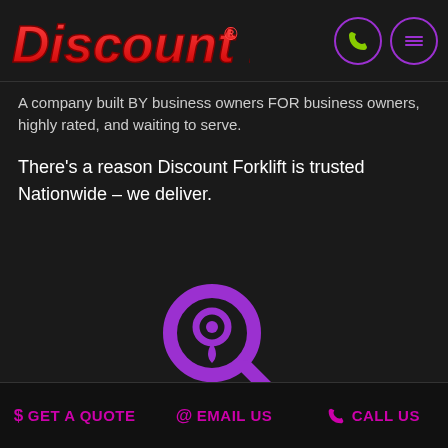Discount Forklift®
A company built by business owners for business owners, highly rated, and waiting to serve.
There's a reason Discount Forklift is trusted Nationwide – we deliver.
[Figure (illustration): Purple magnifying glass icon with a location pin inside]
Find a Location
Providing nationwide service
$ GET A QUOTE   @ EMAIL US   CALL US